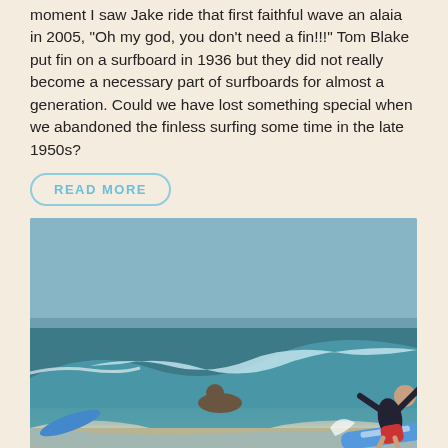moment I saw Jake ride that first faithful wave an alaia in 2005, "Oh my god, you don't need a fin!!!" Tom Blake put fin on a surfboard in 1936 but they did not really become a necessary part of surfboards for almost a generation. Could we have lost something special when we abandoned the finless surfing some time in the late 1950s?
READ MORE
[Figure (photo): Surfer riding a wave on a blue surfboard, another person paddling in the background, ocean scene. Caption: Dane Peterson]
Dane Peterson
ORIGIN OF THE SURFIE SURFBOARD
21 SEP